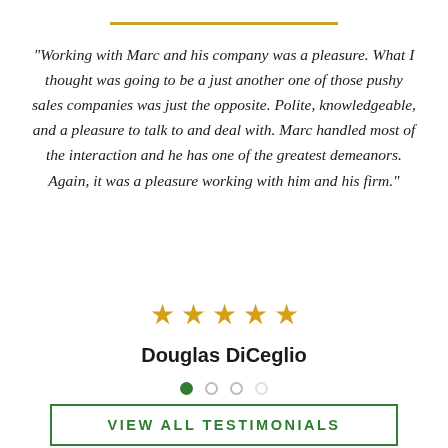“Working with Marc and his company was a pleasure. What I thought was going to be a just another one of those pushy sales companies was just the opposite. Polite, knowledgeable, and a pleasure to talk to and deal with. Marc handled most of the interaction and he has one of the greatest demeanors. Again, it was a pleasure working with him and his firm.”
[Figure (other): Five gold/orange star rating icons indicating a 5-star review]
Douglas DiCeglio
[Figure (other): Carousel navigation dots: one filled green, three empty/grey]
VIEW ALL TESTIMONIALS